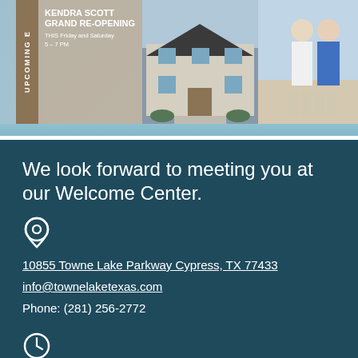[Figure (photo): Kendra Scott Grand Re-Opening event promotional banner with house photo and couple photo on blue/tan background]
We look forward to meeting you at our Welcome Center.
10855 Towne Lake Parkway Cypress, TX 77433
info@townelaketexas.com
Phone: (281) 256-2772